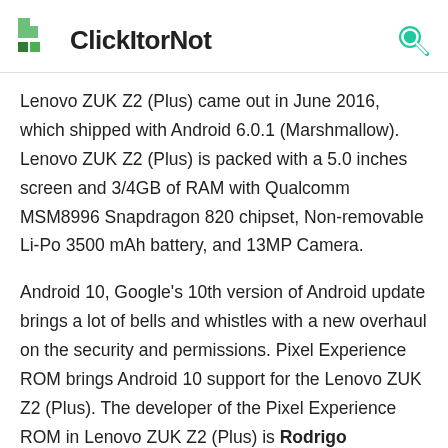ClickItorNot
Lenovo ZUK Z2 (Plus) came out in June 2016, which shipped with Android 6.0.1 (Marshmallow). Lenovo ZUK Z2 (Plus) is packed with a 5.0 inches screen and 3/4GB of RAM with Qualcomm MSM8996 Snapdragon 820 chipset, Non-removable Li-Po 3500 mAh battery, and 13MP Camera.
Android 10, Google's 10th version of Android update brings a lot of bells and whistles with a new overhaul on the security and permissions. Pixel Experience ROM brings Android 10 support for the Lenovo ZUK Z2 (Plus). The developer of the Pixel Experience ROM in Lenovo ZUK Z2 (Plus) is Rodrigo